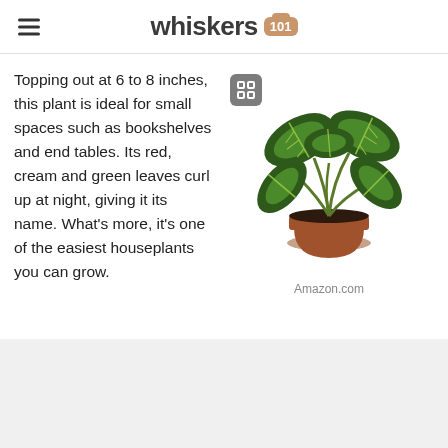whiskers 101
Topping out at 6 to 8 inches, this plant is ideal for small spaces such as bookshelves and end tables. Its red, cream and green leaves curl up at night, giving it its name. What's more, it's one of the easiest houseplants you can grow.
[Figure (photo): A potted prayer plant (Maranta) with large dark green leaves with light green and cream stripe patterns, in a terracotta pot, shown against a white background. A gray expand/fullscreen button overlay is visible in the top left of the image.]
Amazon.com